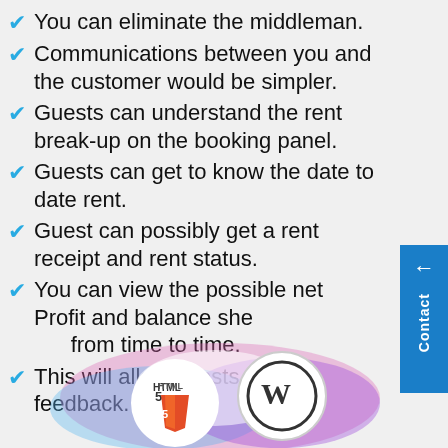You can eliminate the middleman.
Communications between you and the customer would be simpler.
Guests can understand the rent break-up on the booking panel.
Guests can get to know the date to date rent.
Guest can possibly get a rent receipt and rent status.
You can view the possible net Profit and balance sheet from time to time.
This will allow guests to give feedback.
[Figure (illustration): Bottom decorative area with colorful blobs and technology logos: HTML5 and WordPress icons on circular backgrounds with pink/purple/blue gradient blobs]